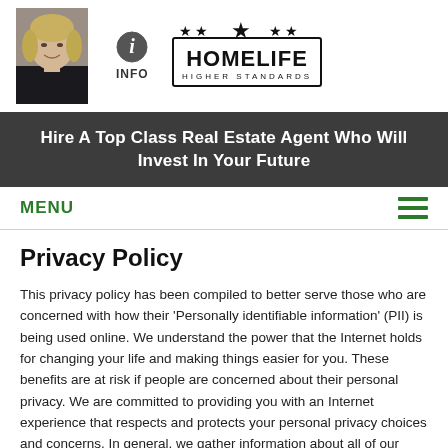[Figure (photo): Headshot of a female real estate agent with blonde hair wearing a dark jacket]
[Figure (logo): Info icon (circle with letter i) with text INFO below it]
[Figure (logo): HomeLife Higher Standards logo with stars]
Hire A Top Class Real Estate Agent Who Will Invest In Your Future
MENU
Privacy Policy
This privacy policy has been compiled to better serve those who are concerned with how their 'Personally identifiable information' (PII) is being used online. We understand the power that the Internet holds for changing your life and making things easier for you. These benefits are at risk if people are concerned about their personal privacy. We are committed to providing you with an Internet experience that respects and protects your personal privacy choices and concerns. In general, we gather information about all of our users collectively. We only use such